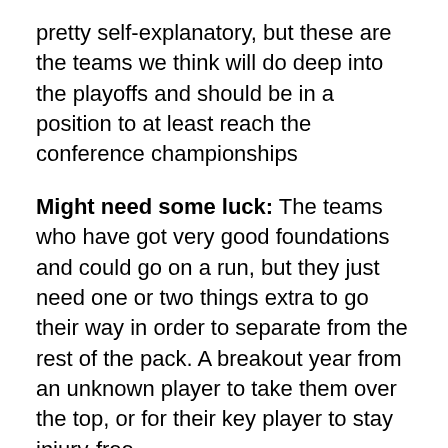pretty self-explanatory, but these are the teams we think will do deep into the playoffs and should be in a position to at least reach the conference championships
Might need some luck: The teams who have got very good foundations and could go on a run, but they just need one or two things extra to go their way in order to separate from the rest of the pack. A breakout year from an unknown player to take them over the top, or for their key player to stay injury-free.